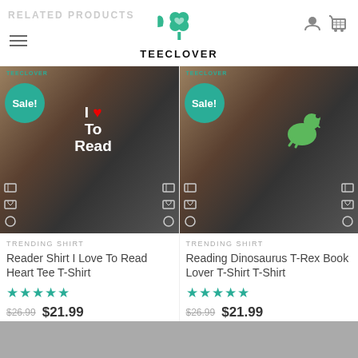RELATED PRODUCTS — TEECLOVER
[Figure (photo): Product photo: woman wearing black t-shirt with 'I Love To Read' heart design. Sale badge in teal. TEECLOVER watermark. Size icons overlaid.]
TRENDING SHIRT
Reader Shirt I Love To Read Heart Tee T-Shirt
★★★★★  $26.99  $21.99
[Figure (photo): Product photo: woman wearing black t-shirt with Reading Dinosaurus T-Rex design. Sale badge in teal. TEECLOVER watermark. Size icons overlaid.]
TRENDING SHIRT
Reading Dinosaurus T-Rex Book Lover T-Shirt T-Shirt
★★★★★  $26.99  $21.99